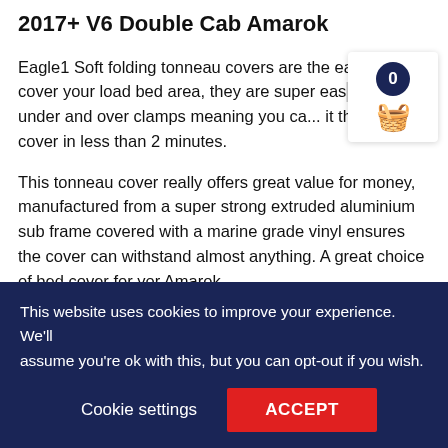2017+ V6 Double Cab Amarok
Eagle1 Soft folding tonneau covers are the eas... to cover your load bed area, they are super eas... using 4 under and over clamps meaning you ca... it the bed cover in less than 2 minutes.
This tonneau cover really offers great value for money, manufactured from a super strong extruded aluminium sub frame covered with a marine grade vinyl ensures the cover can withstand almost anything. A great choice of bed cover for yor Amarok.
Easy non drill fitment, fits in less than 2 minutes
Can be fitted with bed liners
This website uses cookies to improve your experience. We'll assume you're ok with this, but you can opt-out if you wish.
Cookie settings   ACCEPT